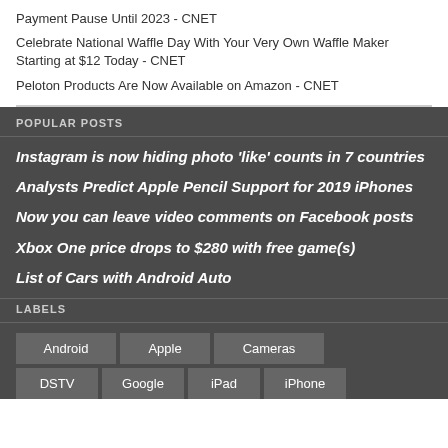Payment Pause Until 2023 - CNET
Celebrate National Waffle Day With Your Very Own Waffle Maker Starting at $12 Today - CNET
Peloton Products Are Now Available on Amazon - CNET
POPULAR POSTS
Instagram is now hiding photo 'like' counts in 7 countries
Analysts Predict Apple Pencil Support for 2019 iPhones
Now you can leave video comments on Facebook posts
Xbox One price drops to $280 with free game(s)
List of Cars with Android Auto
LABELS
Android | Apple | Cameras | DSTV | Google | iPad | iPhone